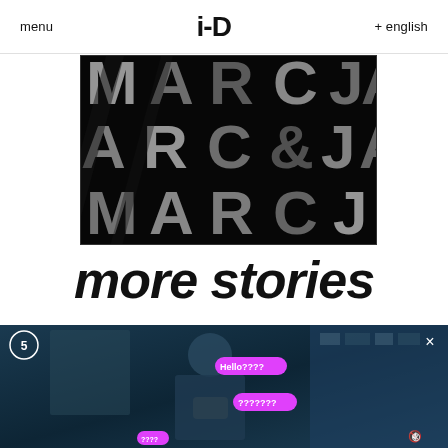menu  i-D  + english
[Figure (photo): Close-up black and white photo of Marc Jacobs branded bags/fabric with large letters M, A, R, C, J visible in a repeating pattern]
more stories
[Figure (screenshot): Dark teal-toned video frame showing a person looking at their phone with pink/magenta chat bubbles showing 'Hello????' and '???????'. Timer showing 5 in top left, close X in top right, mute icon bottom right.]